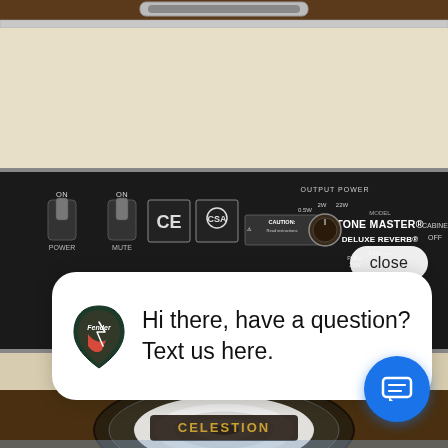[Figure (photo): Photo of the back panel of a Fender Tone Master Deluxe Reverb guitar amplifier. The amplifier has a cream/beige textured cabinet. The control panel shows: POWER switch (ON), MUTE switch (ON), CE and CSA certification marks, CAUTION warning labels, model label reading 'TONE MASTER DELUXE REVERB', OUTPUT POWER controls with 0.5W/2W/22W settings, PULL/22W knob, and CABINET OFF label. Below the panel is the speaker grille area with a Celestion speaker visible. A chat widget overlay shows a message bubble with a guitar pick logo and the text 'Hi there, have a question? Text us here.' along with a close button and a blue circular chat icon button.]
close
Hi there, have a question? Text us here.